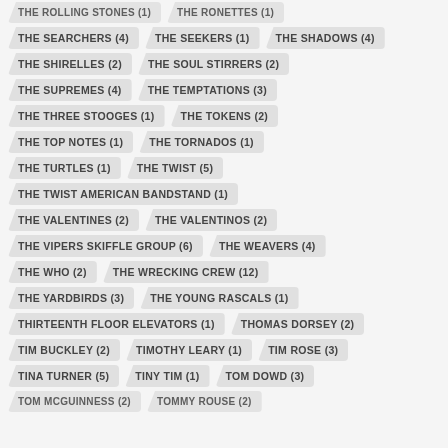THE SEARCHERS (4)
THE SEEKERS (1)
THE SHADOWS (4)
THE SHIRELLES (2)
THE SOUL STIRRERS (2)
THE SUPREMES (4)
THE TEMPTATIONS (3)
THE THREE STOOGES (1)
THE TOKENS (2)
THE TOP NOTES (1)
THE TORNADOS (1)
THE TURTLES (1)
THE TWIST (5)
THE TWIST AMERICAN BANDSTAND (1)
THE VALENTINES (2)
THE VALENTINOS (2)
THE VIPERS SKIFFLE GROUP (6)
THE WEAVERS (4)
THE WHO (2)
THE WRECKING CREW (12)
THE YARDBIRDS (3)
THE YOUNG RASCALS (1)
THIRTEENTH FLOOR ELEVATORS (1)
THOMAS DORSEY (2)
TIM BUCKLEY (2)
TIMOTHY LEARY (1)
TIM ROSE (3)
TINA TURNER (5)
TINY TIM (1)
TOM DOWD (3)
TOM MCGUINNESS (2)
TOMMY ROUSE (2)